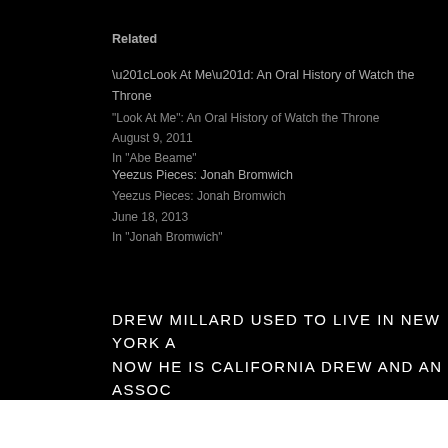Related
“Look At Me”: An Oral History of Watch the Throne
August 9, 2011
In “Abe Beame”
Yeezus Pieces: Jonah Bromwich
June 18, 2013
In “Jonah Bromwich”
DREW MILLARD USED TO LIVE IN NEW YORK A NOW HE IS CALIFORNIA DREW AND AN ASSOC